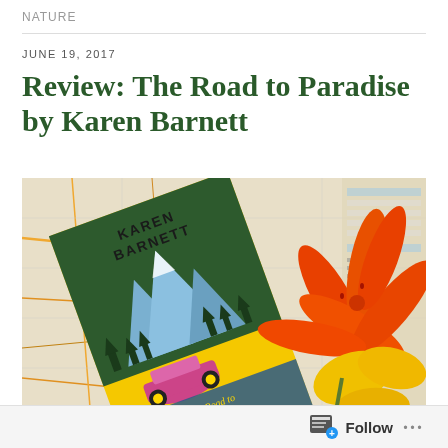NATURE
JUNE 19, 2017
Review: The Road to Paradise by Karen Barnett
[Figure (photo): Book cover of 'The Road to Paradise' by Karen Barnett lying on a road map, with an orange day lily flower beside it. The book cover shows a vintage car driving through a forest with mountains in the background, with 'Karen Barnett' text at the top and 'The Road to Paradise' at the bottom.]
Follow